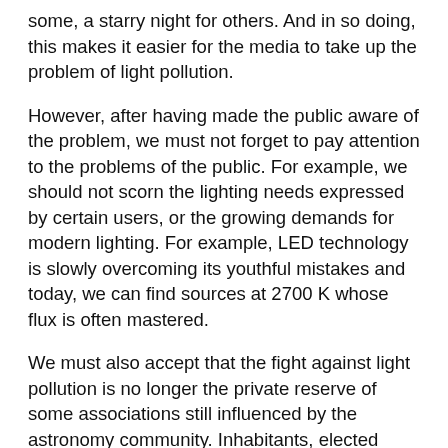some, a starry night for others. And in so doing, this makes it easier for the media to take up the problem of light pollution.
However, after having made the public aware of the problem, we must not forget to pay attention to the problems of the public. For example, we should not scorn the lighting needs expressed by certain users, or the growing demands for modern lighting. For example, LED technology is slowly overcoming its youthful mistakes and today, we can find sources at 2700 K whose flux is often mastered.
We must also accept that the fight against light pollution is no longer the private reserve of some associations still influenced by the astronomy community. Inhabitants, elected representatives, urban planning engineers, design firms, researchers – all these people are part of the urban lighting fabric. We must